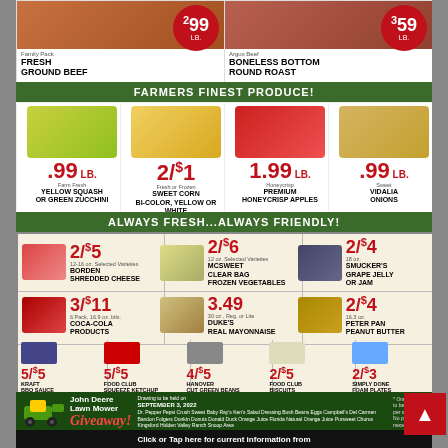[Figure (photo): Family Pack Fresh Ground Beef $2.99/lb]
[Figure (photo): Argus Beef Boneless Bottom Round Roast $3.59/lb]
FARMERS FINEST PRODUCE!
[Figure (photo): Yellow Squash or Green Zucchini .99/lb]
[Figure (photo): Sweet Corn Bi-Color Yellow or White 2/$1]
[Figure (photo): Premium Honeycrisp Apples 1.99/lb]
[Figure (photo): Vidalia Onions .99/lb]
ALWAYS FRESH...ALWAYS FRIENDLY!
[Figure (photo): Borden Shredded Cheese 2/$5]
[Figure (photo): McSweet Clear Bag Frozen Vegetables 2/$6]
[Figure (photo): Smucker's Grape Jelly or Jam 2/$4]
[Figure (photo): Coca-Cola Products 3/$11]
[Figure (photo): Duke's Real Mayonnaise 3.49]
[Figure (photo): Peter Pan Peanut Butter 2/$4]
[Figure (photo): Kraft BBQ Sauce 5/$5]
[Figure (photo): Food Club Squeeze Ketchup 5/$5]
[Figure (photo): Hanover Cut Green Beans 4/$5]
[Figure (photo): Food Club Biscuits 2/$5]
[Figure (photo): Simply Done Foam Plates 2/$3]
[Figure (illustration): John Deere Lawn Mower Giveaway promotion - Drawing September 3, 2022]
Click or Tap here for current information from